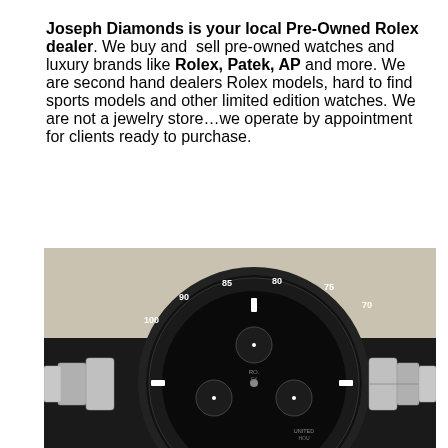Joseph Diamonds is your local Pre-Owned Rolex dealer. We buy and sell pre-owned watches and luxury brands like Rolex, Patek, AP and more. We are second hand dealers Rolex models, hard to find sports models and other limited edition watches. We are not a jewelry store...we operate by appointment for clients ready to purchase.
[Figure (photo): Close-up photograph of a Rolex Daytona chronograph watch with black dial, showing the tachymeter bezel with numbers 75, 70, 80, 85, 90, 100, stainless steel bracelet, and sub-dials.]